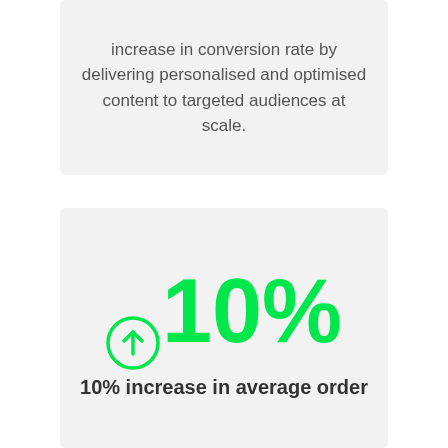increase in conversion rate by delivering personalised and optimised content to targeted audiences at scale.
[Figure (infographic): Large green upward arrow circle icon followed by '10%' in large green bold text, representing a 10% increase statistic]
10% increase in average order